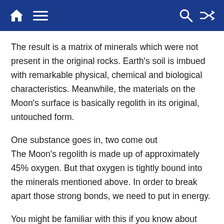Navigation header bar with home, menu, search and shuffle icons
The result is a matrix of minerals which were not present in the original rocks. Earth's soil is imbued with remarkable physical, chemical and biological characteristics. Meanwhile, the materials on the Moon's surface is basically regolith in its original, untouched form.
One substance goes in, two come out
The Moon's regolith is made up of approximately 45% oxygen. But that oxygen is tightly bound into the minerals mentioned above. In order to break apart those strong bonds, we need to put in energy.
You might be familiar with this if you know about electrolysis. On Earth this process is commonly used in manufacturing, such as to produce aluminium. An electrical current is passed through a liquid form of aluminium oxide (commonly called alumina) via elect— to separate the aluminium from the oxygen.